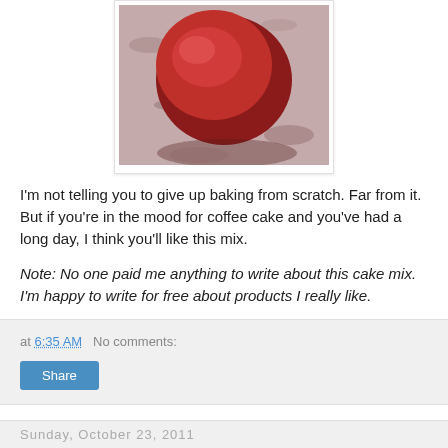[Figure (photo): A red/dark red ball of dough or food item on a granite countertop surface, viewed from close up]
I'm not telling you to give up baking from scratch. Far from it. But if you're in the mood for coffee cake and you've had a long day, I think you'll like this mix.
Note: No one paid me anything to write about this cake mix. I'm happy to write for free about products I really like.
at 6:35 AM   No comments:
Share
Sunday, October 23, 2011